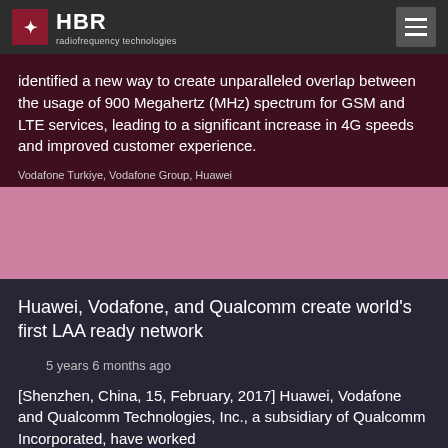HBR radiofrequency technologies
identified a new way to create unparalleled overlap between the usage of 900 Megahertz (MHz) spectrum for GSM and LTE services, leading to a significant increase in 4G speeds and improved customer experience.
Vodafone Turkiye, Vodafone Group, Huawei
[Figure (photo): Pink/mauve banner image placeholder]
Huawei, Vodafone, and Qualcomm create world's first LAA ready network
5 years 6 months ago
[Shenzhen, China, 15, February, 2017] Huawei, Vodafone and Qualcomm Technologies, Inc., a subsidiary of Qualcomm Incorporated, have worked